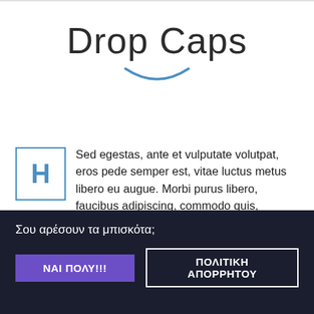Drop Caps
[Figure (illustration): A blue smile arc/curve SVG icon centered below the title text]
H Sed egestas, ante et vulputate volutpat, eros pede semper est, vitae luctus metus libero eu augue. Morbi purus libero, faucibus adipiscing, commodo quis, gravida id, est. Sed lectus. Praesent elementum hendrerit tortor. Sed egestas, ante et vulputate volutpat, eros pede semper est.
Σου αρέσουν τα μπισκότα;
ΝΑΙ ΠΟΛΥ!!!
ΠΟΛΙΤΙΚΗ ΑΠΟΡΡΗΤΟΥ